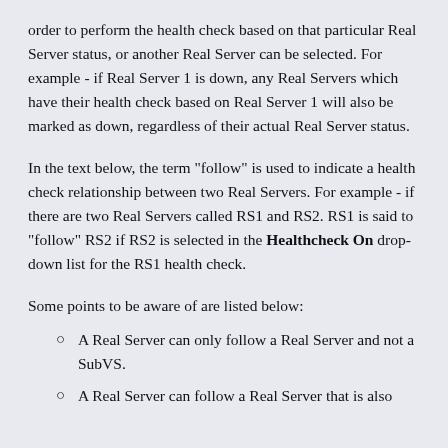order to perform the health check based on that particular Real Server status, or another Real Server can be selected. For example - if Real Server 1 is down, any Real Servers which have their health check based on Real Server 1 will also be marked as down, regardless of their actual Real Server status.
In the text below, the term "follow" is used to indicate a health check relationship between two Real Servers. For example - if there are two Real Servers called RS1 and RS2. RS1 is said to "follow" RS2 if RS2 is selected in the Healthcheck On drop-down list for the RS1 health check.
Some points to be aware of are listed below:
A Real Server can only follow a Real Server and not a SubVS.
A Real Server can follow a Real Server that is also...